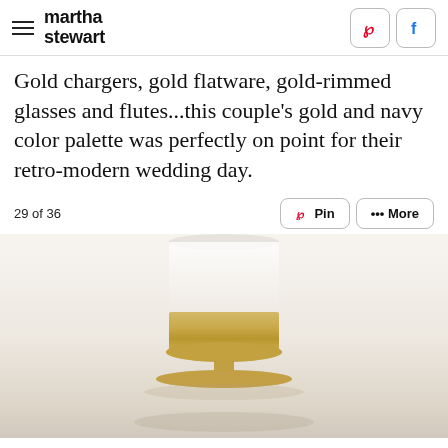martha stewart
Gold chargers, gold flatware, gold-rimmed glasses and flutes...this couple's gold and navy color palette was perfectly on point for their retro-modern wedding day.
29 of 36
[Figure (photo): Close-up photo of a gold-rimmed glass or vessel on a gold charger plate, with soft white and neutral background, part of a retro-modern wedding table setting.]